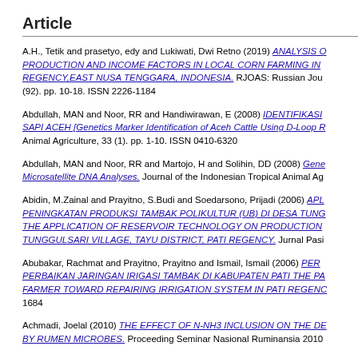Article
A.H., Tetik and prasetyo, edy and Lukiwati, Dwi Retno (2019) ANALYSIS OF PRODUCTION AND INCOME FACTORS IN LOCAL CORN FARMING IN REGENCY,EAST NUSA TENGGARA, INDONESIA. RJOAS: Russian Journal (92). pp. 10-18. ISSN 2226-1184
Abdullah, MAN and Noor, RR and Handiwirawan, E (2008) IDENTIFIKASI SAPI ACEH [Genetics Marker Identification of Aceh Cattle Using D-Loop R Animal Agriculture, 33 (1). pp. 1-10. ISSN 0410-6320
Abdullah, MAN and Noor, RR and Martojo, H and Solihin, DD (2008) Gene Microsatellite DNA Analyses. Journal of the Indonesian Tropical Animal Ag
Abidin, M.Zainal and Prayitno, S.Budi and Soedarsono, Prijadi (2006) APL PENINGKATAN PRODUKSI TAMBAK POLIKULTUR (UB) DI DESA TUNG THE APPLICATION OF RESERVOIR TECHNOLOGY ON PRODUCTION TUNGGULSARI VILLAGE, TAYU DISTRICT, PATI REGENCY. Jurnal Pasi
Abubakar, Rachmat and Prayitno, Prayitno and Ismail, Ismail (2006) PER PERBAIKAN JARINGAN IRIGASI TAMBAK DI KABUPATEN PATI THE PA FARMER TOWARD REPAIRING IRRIGATION SYSTEM IN PATI REGENC 1684
Achmadi, Joelal (2010) THE EFFECT OF N-NH3 INCLUSION ON THE DE BY RUMEN MICROBES. Proceeding Seminar Nasional Ruminansia 2010
Adawiah, Adawiah and Sutardi, T and Toharmat, T and Manalu, Wasmen a SABUN MINERAL DAN MINERAL ORGANIK SERTA KACANG KELEDA DAN LEMAK SERUM DOMBA [Responses of Mineral Soap, Organic Min